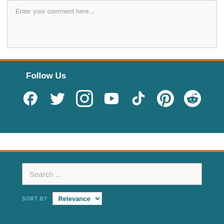Enter your comment here...
Follow Us
[Figure (infographic): Social media icons: Facebook, Twitter, Instagram, YouTube, TikTok, Pinterest, Reddit — all white on teal background]
Search ...
SORT BY Relevance